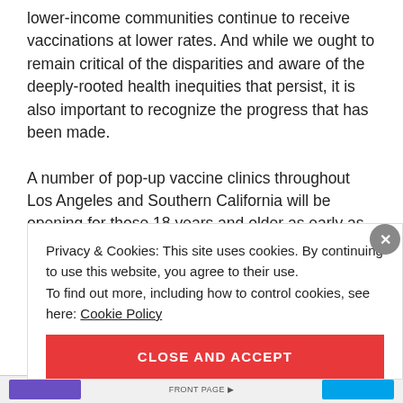lower-income communities continue to receive vaccinations at lower rates. And while we ought to remain critical of the disparities and aware of the deeply-rooted health inequities that persist, it is also important to recognize the progress that has been made.
A number of pop-up vaccine clinics throughout Los Angeles and Southern California will be opening for those 18 years and older as early as April 15. The clinics
Privacy & Cookies: This site uses cookies. By continuing to use this website, you agree to their use.
To find out more, including how to control cookies, see here: Cookie Policy
CLOSE AND ACCEPT